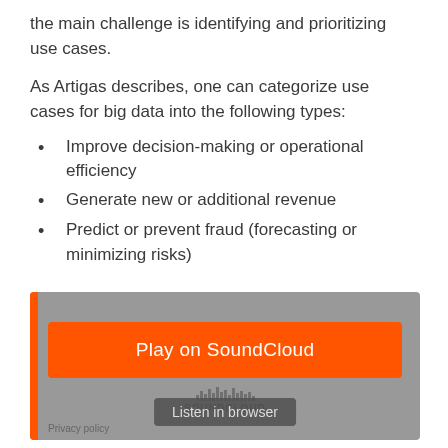the main challenge is identifying and prioritizing use cases.
As Artigas describes, one can categorize use cases for big data into the following types:
Improve decision-making or operational efficiency
Generate new or additional revenue
Predict or prevent fraud (forecasting or minimizing risks)
[Figure (screenshot): SoundCloud embedded player widget with orange 'Play on SoundCloud' button and 'Listen in browser' button on gray background]